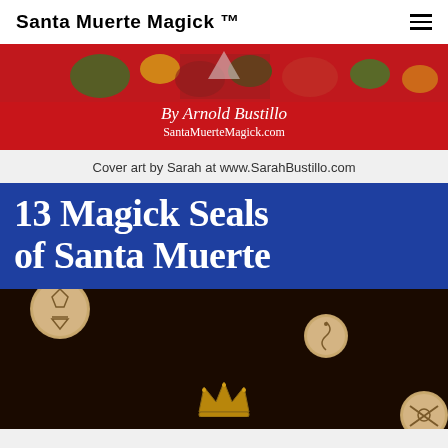Santa Muerte Magick ™
[Figure (illustration): Book cover top portion showing colorful floral illustration on red background with text 'By Arnold Bustillo' and 'SantaMuerteMagick.com']
Cover art by Sarah at www.SarahBustillo.com
[Figure (illustration): Book cover for '13 Magick Seals of Santa Muerte' showing bold white serif text on blue background, with dark background below showing wooden coin seals with carved symbols and a crown symbol]